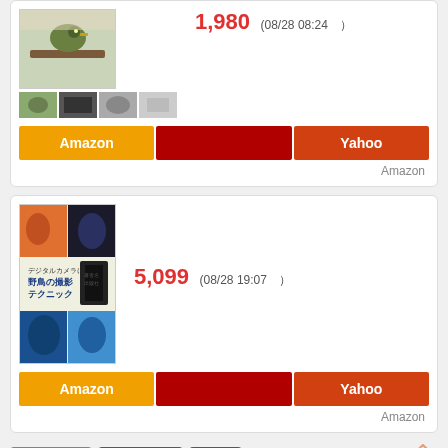[Figure (screenshot): Product card 1: bird photography book with thumbnail images, price 1,980 (08/28 08:24), Amazon and Yahoo buttons]
[Figure (screenshot): Product card 2: 野鳥の撮影テクニック book cover, price 5,099 (08/28 19:07), Amazon and Yahoo buttons]
[Figure (screenshot): Social share buttons row: Twitter share, Facebook like (0), Facebook share, Pocket, Hatena Bookmark 1, LINE share]